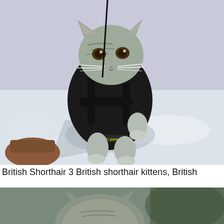[Figure (photo): A grey tabby British Shorthair kitten wearing a black harness with a 'jump' logo, standing in snow, looking at the camera. A leash extends upward. Someone's foot is partially visible at the lower left.]
British Shorthair 3 British shorthair kittens, British
[Figure (photo): Partial view of another British Shorthair cat photo, cropped at the bottom of the page. Shows the top of a cat's head and blurred background.]